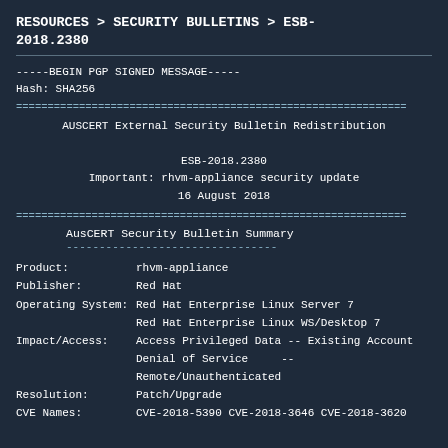RESOURCES  >  SECURITY BULLETINS  >  ESB-2018.2380
-----BEGIN PGP SIGNED MESSAGE-----
Hash: SHA256
==============================================================
         AUSCERT External Security Bulletin Redistribution

                    ESB-2018.2380
         Important: rhvm-appliance security update
                    16 August 2018
==============================================================
AusCERT Security Bulletin Summary
--------------------------------
Product:          rhvm-appliance
Publisher:        Red Hat
Operating System: Red Hat Enterprise Linux Server 7
                  Red Hat Enterprise Linux WS/Desktop 7
Impact/Access:    Access Privileged Data -- Existing Account
                  Denial of Service     -- Remote/Unauthenticated
Resolution:       Patch/Upgrade
CVE Names:        CVE-2018-5390 CVE-2018-3646 CVE-2018-3620